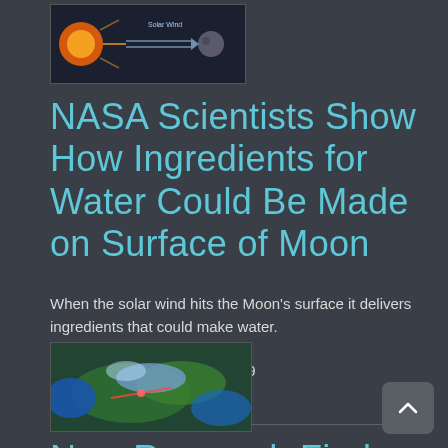[Figure (illustration): Thumbnail image showing a solar wind / sun diagram with dark space background and glowing sun corona with directional lines]
NASA Scientists Show How Ingredients for Water Could Be Made on Surface of Moon
When the solar wind hits the Moon's surface it delivers ingredients that could make water.
Wednesday February 20, 2019
Read Full Article →
[Figure (illustration): Thumbnail image showing a colorful satellite or weather map visualization with green and blue hues]
New Research Finds Possible